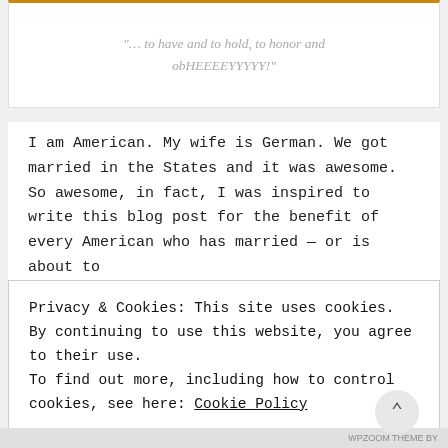“… to have and to hold, to honor and obHEEEEYYYYY!”
I am American. My wife is German. We got married in the States and it was awesome. So awesome, in fact, I was inspired to write this blog post for the benefit of every American who has married — or is about to
Privacy & Cookies: This site uses cookies. By continuing to use this website, you agree to their use.
To find out more, including how to control cookies, see here: Cookie Policy
CLOSE AND ACCEPT